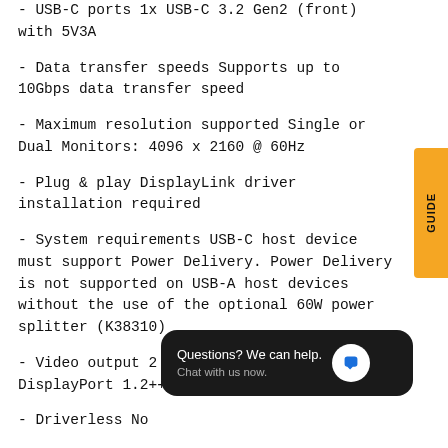- USB-C ports 1x USB-C 3.2 Gen2 (front) with 5V3A
- Data transfer speeds Supports up to 10Gbps data transfer speed
- Maximum resolution supported Single or Dual Monitors: 4096 x 2160 @ 60Hz
- Plug & play DisplayLink driver installation required
- System requirements USB-C host device must support Power Delivery. Power Delivery is not supported on USB-A host devices without the use of the optional 60W power splitter (K38310)
- Video output 2 x HDMI v2.0, 2 x DisplayPort 1.2++
- Driverless No
- Video ports DisplayPort++, HDMI
- Power delivery 1[...]
- Number of USB ports 6